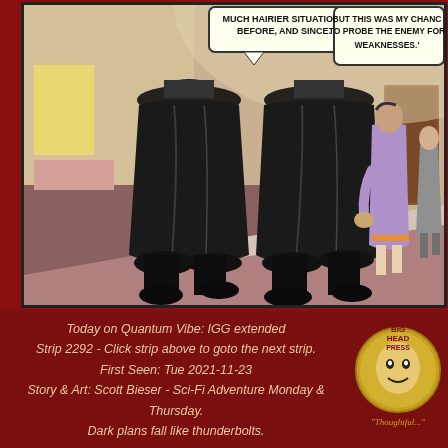[Figure (illustration): Comic strip panel showing the backs of two large figures in long black coats walking down a corridor. In the background, a person in a purple outfit looks back, and another figure in a grey suit walks away. Speech bubbles at the top read: 'MUCH HAIRIER SITUATIONS BEFORE, AND SINCE.' and 'BUT THIS WAS MY CHANCE TO PROBE THE ENEMY FOR WEAKNESSES.']
Today on Quantum Vibe: IGG extended
Strip 2292 - Click strip above to goto the next strip.
First Seen: Tue 2021-11-23
Story & Art: Scott Bieser - Sci-Fi Adventure Monday & Thursday.
Dark plans fall like thunderbolts.
[Figure (logo): Big Head Press logo - circular gold logo with stylized face and text 'BIG HEAD PRESS' and 'Thoughtful']